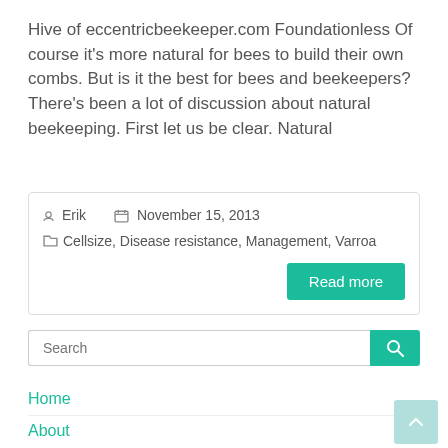Hive of eccentricbeekeeper.com Foundationless Of course it's more natural for bees to build their own combs. But is it the best for bees and beekeepers? There's been a lot of discussion about natural beekeeping. First let us be clear. Natural
Erik   November 15, 2013   Cellsize, Disease resistance, Management, Varroa
Read more
Search
Home
About